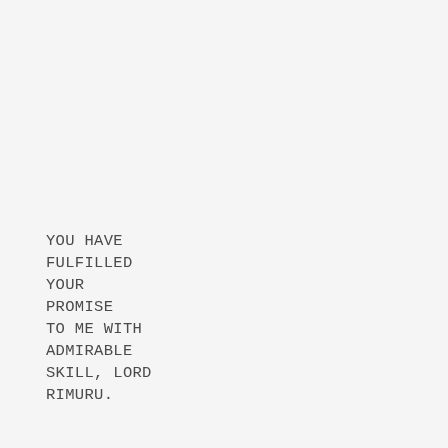YOU HAVE FULFILLED YOUR PROMISE TO ME WITH ADMIRABLE SKILL, LORD RIMURU.